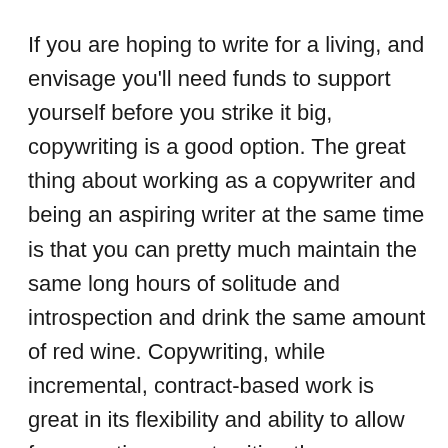If you are hoping to write for a living, and envisage you'll need funds to support yourself before you strike it big, copywriting is a good option. The great thing about working as a copywriter and being an aspiring writer at the same time is that you can pretty much maintain the same long hours of solitude and introspection and drink the same amount of red wine. Copywriting, while incremental, contract-based work is great in its flexibility and ability to allow for more time spent writing than copywriting. Copywriting though is not so much of a great option when it comes to the pointy side of things, pleasing and appeasing your first audience and your first critic, your client.
Your client for individual contracts is your first for